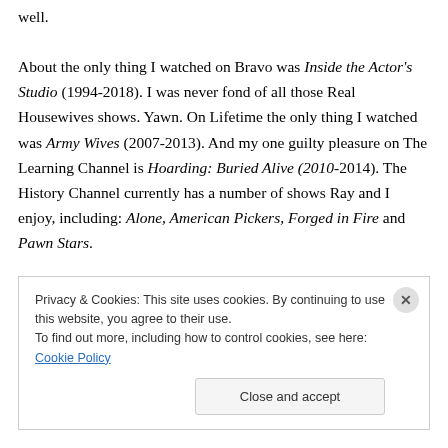well.
About the only thing I watched on Bravo was Inside the Actor's Studio (1994-2018). I was never fond of all those Real Housewives shows. Yawn. On Lifetime the only thing I watched was Army Wives (2007-2013). And my one guilty pleasure on The Learning Channel is Hoarding: Buried Alive (2010-2014). The History Channel currently has a number of shows Ray and I enjoy, including: Alone, American Pickers, Forged in Fire and Pawn Stars.
Privacy & Cookies: This site uses cookies. By continuing to use this website, you agree to their use.
To find out more, including how to control cookies, see here: Cookie Policy
Close and accept